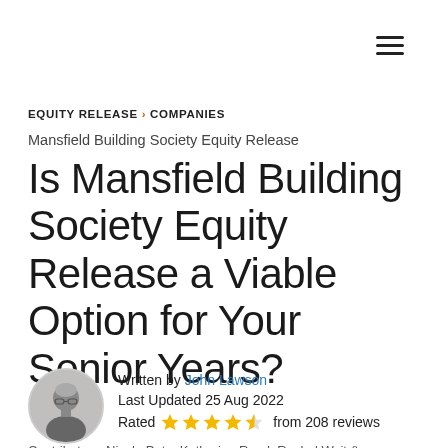EQUITY RELEASE > COMPANIES
Mansfield Building Society Equity Release
Is Mansfield Building Society Equity Release a Viable Option for Your Senior Years?
Written by John Lawson
Last Updated 25 Aug 2022
Rated ★★★★½ from 208 reviews
Contributors: Nicole Pate, Katherine Reed, Rachel Wait &